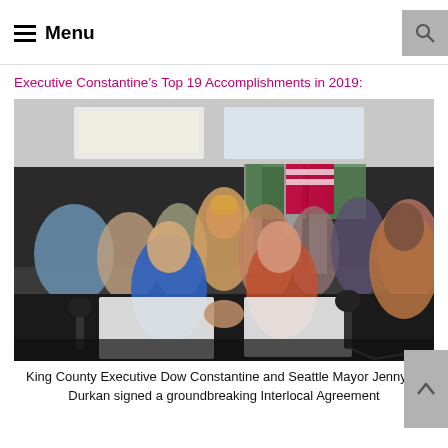≡ Menu
Executive Constantine's Top 19 Accomplishments in 2019:
[Figure (photo): King County Executive Dow Constantine and Seattle Mayor Jenny A. Durkan shaking hands at a table holding signed documents, surrounded by a crowd of applauding people, with American flags and green flags in the background.]
King County Executive Dow Constantine and Seattle Mayor Jenny A. Durkan signed a groundbreaking Interlocal Agreement